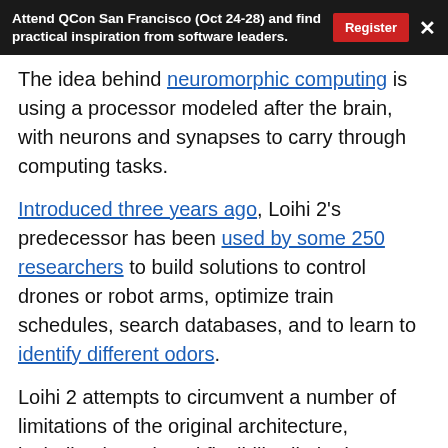Attend QCon San Francisco (Oct 24-28) and find practical inspiration from software leaders.
The idea behind neuromorphic computing is using a processor modeled after the brain, with neurons and synapses to carry through computing tasks.
Introduced three years ago, Loihi 2's predecessor has been used by some 250 researchers to build solutions to control drones or robot arms, optimize train schedules, search databases, and to learn to identify different odors.
Loihi 2 attempts to circumvent a number of limitations of the original architecture, including its reduced flexibility, limited numerical precision, and congestion between interconnected Loihi chips, among others. This required to redesign some of circuits of the processor, which ended up including 1